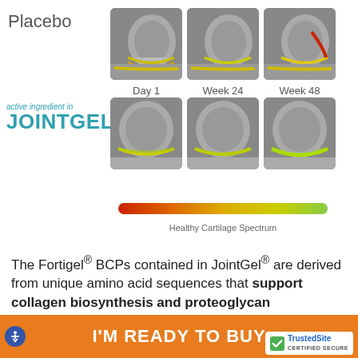Placebo
[Figure (photo): MRI knee images showing cartilage over time for Placebo group: Day 1, Week 24, Week 48. Yellow/green highlight shows cartilage condition.]
Day 1   Week 24   Week 48
active ingredient in JOINTGEL®
[Figure (photo): MRI knee images showing cartilage over time for JointGel active ingredient group: Day 1, Week 24, Week 48. Yellow/green highlight shows cartilage condition improving.]
[Figure (continuous-plot): Healthy Cartilage Spectrum color scale bar ranging from red (unhealthy) on the left to green (healthy) on the right.]
Healthy Cartilage Spectrum
The Fortigel® BCPs contained in JointGel® are derived from unique amino acid sequences that support collagen biosynthesis and proteoglycan generation, which promotes elastin fiber and cartilage strength!* Clinical studies on Fortigel®
I'M READY TO BUY
[Figure (logo): TrustedSite Certified Secure badge with green checkmark]